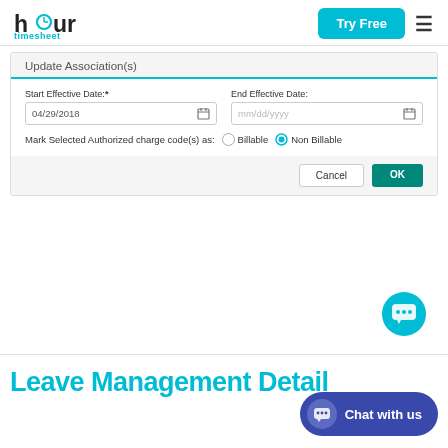[Figure (logo): Hour Timesheet logo with clock icon in 'o']
[Figure (screenshot): Try Free button (cyan) and hamburger menu icon]
Update Association(s)
Start Effective Date:*
04/29/2018
End Effective Date:
mm/dd/yyyy
Mark Selected Authorized charge code(s) as:  Billable  Non Billable
[Figure (screenshot): Cancel and OK buttons in modal footer]
[Figure (infographic): Cyan chat bubble circle icon]
Leave Management Detail
[Figure (infographic): Chat with us pill button (blue/indigo)]